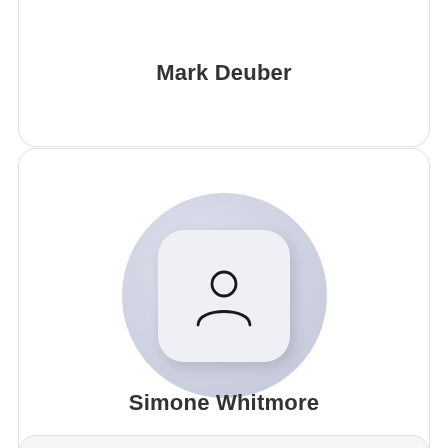Mark Deuber
[Figure (illustration): User profile avatar placeholder — circular lavender background with a rounded-square inner panel containing a person silhouette icon (head circle and shoulders arc)]
Simone Whitmore
[Figure (illustration): Partially visible user profile avatar at bottom of page, same style as above]